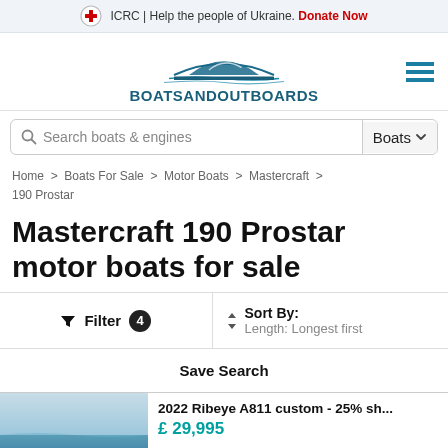ICRC | Help the people of Ukraine. Donate Now
[Figure (logo): BoatsAndOutboards logo with boat graphic and hamburger menu icon]
Search boats & engines | Boats
Home > Boats For Sale > Motor Boats > Mastercraft > 190 Prostar
Mastercraft 190 Prostar motor boats for sale
Filter 4 | Sort By: Length: Longest first
Save Search
2022 Ribeye A811 custom - 25% sh... £ 29,995